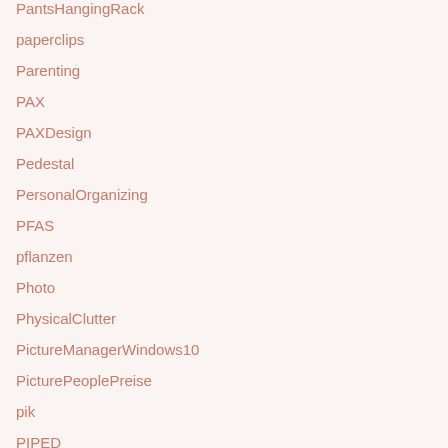PantsHangingRack
paperclips
Parenting
PAX
PAXDesign
Pedestal
PersonalOrganizing
PFAS
pflanzen
Photo
PhysicalClutter
PictureManagerWindows10
PicturePeoplePreise
pik
PIPED